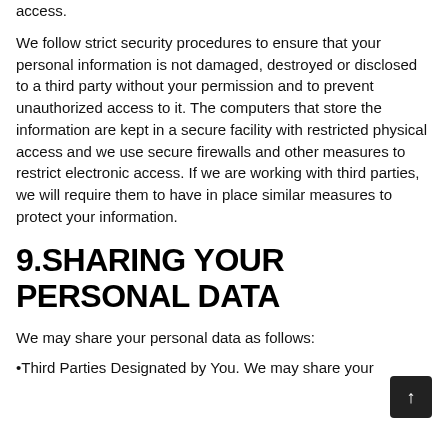access.
We follow strict security procedures to ensure that your personal information is not damaged, destroyed or disclosed to a third party without your permission and to prevent unauthorized access to it. The computers that store the information are kept in a secure facility with restricted physical access and we use secure firewalls and other measures to restrict electronic access. If we are working with third parties, we will require them to have in place similar measures to protect your information.
9.SHARING YOUR PERSONAL DATA
We may share your personal data as follows:
Third Parties Designated by You. We may share your